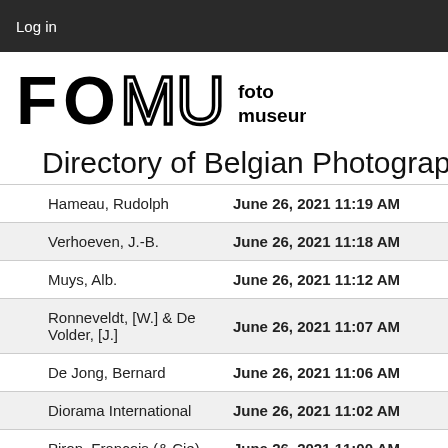Log in
[Figure (logo): FOMU fotomuseum logo in black and white]
Directory of Belgian Photograp
| Name | Date |
| --- | --- |
| Hameau, Rudolph | June 26, 2021 11:19 AM |
| Verhoeven, J.-B. | June 26, 2021 11:18 AM |
| Muys, Alb. | June 26, 2021 11:12 AM |
| Ronneveldt, [W.] & De Volder, [J.] | June 26, 2021 11:07 AM |
| De Jong, Bernard | June 26, 2021 11:06 AM |
| Diorama International | June 26, 2021 11:02 AM |
| Piron, François (& Cie) | June 26, 2021 11:00 AM |